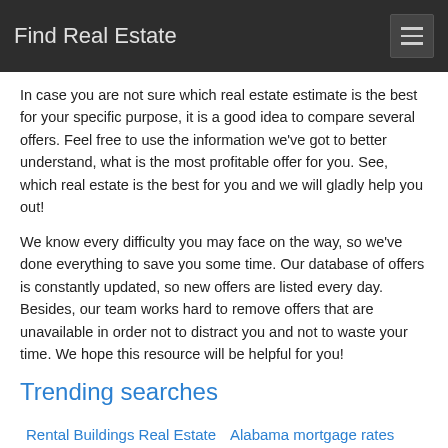Find Real Estate
In case you are not sure which real estate estimate is the best for your specific purpose, it is a good idea to compare several offers. Feel free to use the information we've got to better understand, what is the most profitable offer for you. See, which real estate is the best for you and we will gladly help you out!
We know every difficulty you may face on the way, so we've done everything to save you some time. Our database of offers is constantly updated, so new offers are listed every day. Besides, our team works hard to remove offers that are unavailable in order not to distract you and not to waste your time. We hope this resource will be helpful for you!
Trending searches
Rental Buildings Real Estate
Alabama mortgage rates
Nashville apartments for rent
Philadelphia apartments for rent
Austin apartments for rent
Seattle apartments for rent